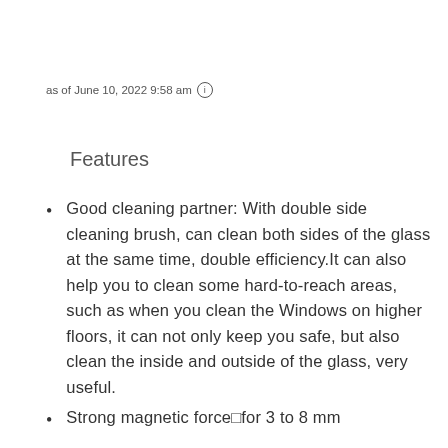as of June 10, 2022 9:58 am ℹ
Features
Good cleaning partner: With double side cleaning brush, can clean both sides of the glass at the same time, double efficiency.It can also help you to clean some hard-to-reach areas, such as when you clean the Windows on higher floors, it can not only keep you safe, but also clean the inside and outside of the glass, very useful.
Strong magnetic force□for 3 to 8 mm